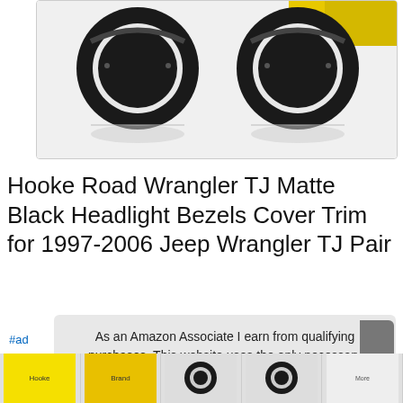[Figure (photo): Two matte black circular headlight bezels/rings for Jeep Wrangler TJ, displayed on white background with reflection]
Hooke Road Wrangler TJ Matte Black Headlight Bezels Cover Trim for 1997-2006 Jeep Wrangler TJ Pair
#ad
As an Amazon Associate I earn from qualifying purchases. This website uses the only necessary cookies to ensure you get the best experience on our website. More information